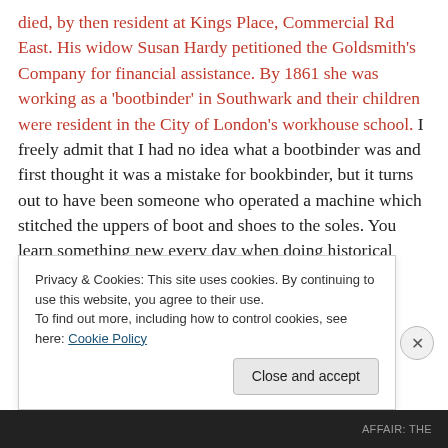died, by then resident at Kings Place, Commercial Rd East. His widow Susan Hardy petitioned the Goldsmith's Company for financial assistance. By 1861 she was working as a 'bootbinder' in Southwark and their children were resident in the City of London's workhouse school. I freely admit that I had no idea what a bootbinder was and first thought it was a mistake for bookbinder, but it turns out to have been someone who operated a machine which stitched the uppers of boot and shoes to the soles. You learn something new every day when doing historical research.
Privacy & Cookies: This site uses cookies. By continuing to use this website, you agree to their use.
To find out more, including how to control cookies, see here: Cookie Policy